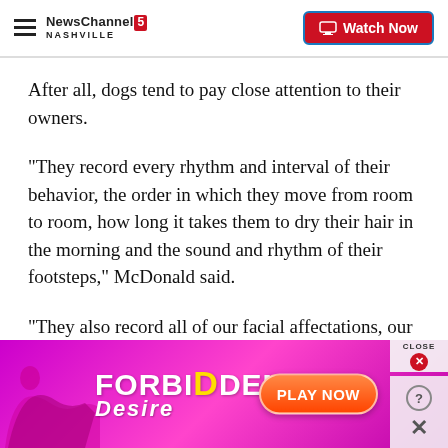NewsChannel 5 NASHVILLE | Watch Now
After all, dogs tend to pay close attention to their owners.
"They record every rhythm and interval of their behavior, the order in which they move from room to room, how long it takes them to dry their hair in the morning and the sound and rhythm of their footsteps," McDonald said.
"They also record all of our facial affectations, our speech patterns, and memorize all of our cognitive
[Figure (advertisement): FORBIDDEN Desire advertisement banner with magenta/purple background, female silhouette, and PLAY NOW button]